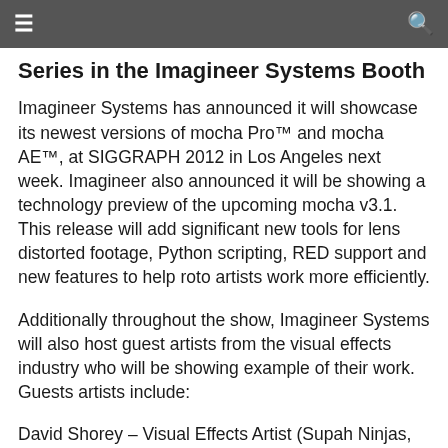☰  🔍
Series in the Imagineer Systems Booth
Imagineer Systems has announced it will showcase its newest versions of mocha Pro™ and mocha AE™, at SIGGRAPH 2012 in Los Angeles next week. Imagineer also announced it will be showing a technology preview of the upcoming mocha v3.1. This release will add significant new tools for lens distorted footage, Python scripting, RED support and new features to help roto artists work more efficiently.
Additionally throughout the show, Imagineer Systems will also host guest artists from the visual effects industry who will be showing example of their work. Guests artists include:
David Shorey – Visual Effects Artist (Supah Ninjas, Mission Impossible: Ghost Protocol)